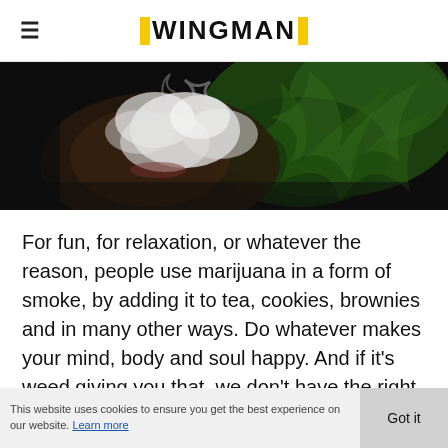≡ WINGMAN
[Figure (photo): Close-up photo of a person exhaling marijuana smoke with green plant/cannabis leaf imagery in background, dark atmospheric image]
For fun, for relaxation, or whatever the reason, people use marijuana in a form of smoke, by adding it to tea, cookies, brownies and in many other ways. Do whatever makes your mind, body and soul happy. And if it's weed giving you that, we don't have the right to stand in your way. Not often do we think of marijuana being something that we get
This website uses cookies to ensure you get the best experience on our website. Learn more   Got it